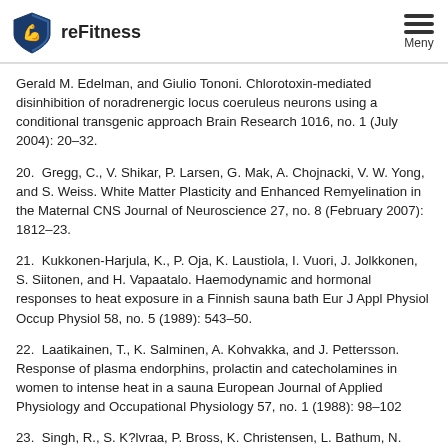reFitness
Gerald M. Edelman, and Giulio Tononi. Chlorotoxin-mediated disinhibition of noradrenergic locus coeruleus neurons using a conditional transgenic approach Brain Research 1016, no. 1 (July 2004): 20–32.
20. Gregg, C., V. Shikar, P. Larsen, G. Mak, A. Chojnacki, V. W. Yong, and S. Weiss. White Matter Plasticity and Enhanced Remyelination in the Maternal CNS Journal of Neuroscience 27, no. 8 (February 2007): 1812–23.
21. Kukkonen-Harjula, K., P. Oja, K. Laustiola, I. Vuori, J. Jolkkonen, S. Siitonen, and H. Vapaatalo. Haemodynamic and hormonal responses to heat exposure in a Finnish sauna bath Eur J Appl Physiol Occup Physiol 58, no. 5 (1989): 543–50.
22. Laatikainen, T., K. Salminen, A. Kohvakka, and J. Pettersson. Response of plasma endorphins, prolactin and catecholamines in women to intense heat in a sauna European Journal of Applied Physiology and Occupational Physiology 57, no. 1 (1988): 98–102
23. Singh, R., S. K?lvraa, P. Bross, K. Christensen, L. Bathum, N.